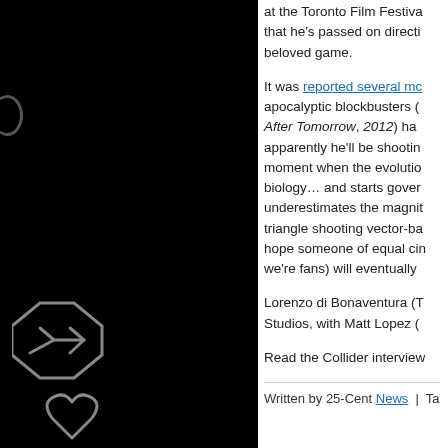[Figure (screenshot): Dark left panel with white outlined icons: an arrow/cursor icon and a heart/cloud icon on black background]
at the Toronto Film Festival, that he's passed on directing the beloved game.
It was reported several mo... apocalyptic blockbusters (After Tomorrow, 2012) had... apparently he'll be shooting moment when the evolution... biology… and starts gover... underestimates the magnit... triangle shooting vector-ba... hope someone of equal cin... we're fans) will eventually...
Lorenzo di Bonaventura (T... Studios, with Matt Lopez (...
Read the Collider interview...
Written by 25-Cent  News  |  Ta...